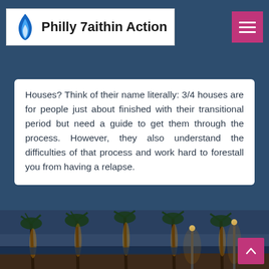Philly Faithin Action
Houses? Think of their name literally: 3/4 houses are for people just about finished with their transitional period but need a guide to get them through the process. However, they also understand the difficulties of that process and work hard to forestall you from having a relapse.
[Figure (photo): Nighttime outdoor scene with illuminated palm trees, pool area and ambient lighting in blue-purple twilight tones]